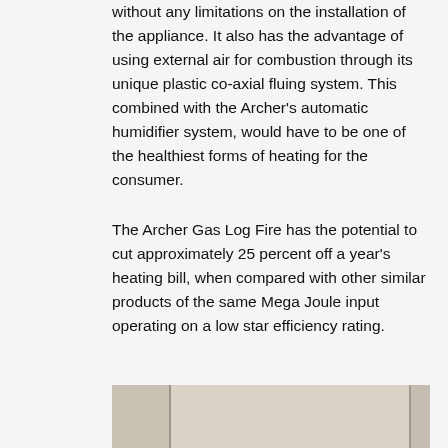without any limitations on the installation of the appliance. It also has the advantage of using external air for combustion through its unique plastic co-axial fluing system. This combined with the Archer's automatic humidifier system, would have to be one of the healthiest forms of heating for the consumer.
The Archer Gas Log Fire has the potential to cut approximately 25 percent off a year's heating bill, when compared with other similar products of the same Mega Joule input operating on a low star efficiency rating.
[Figure (photo): Partial view of a fireplace or tiled wall installation showing beige/cream tiles arranged in a grid pattern, with vertical dividing lines visible.]